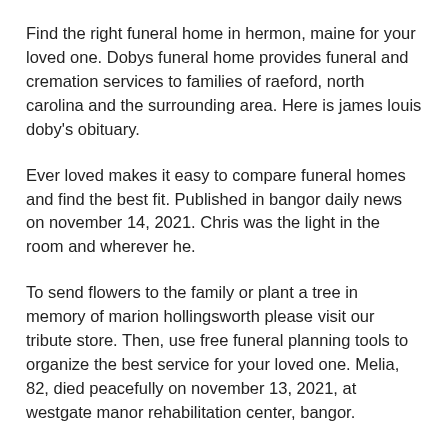Find the right funeral home in hermon, maine for your loved one. Dobys funeral home provides funeral and cremation services to families of raeford, north carolina and the surrounding area. Here is james louis doby's obituary.
Ever loved makes it easy to compare funeral homes and find the best fit. Published in bangor daily news on november 14, 2021. Chris was the light in the room and wherever he.
To send flowers to the family or plant a tree in memory of marion hollingsworth please visit our tribute store. Then, use free funeral planning tools to organize the best service for your loved one. Melia, 82, died peacefully on november 13, 2021, at westgate manor rehabilitation center, bangor.
Our family also operates additional facilities in corinna and newport. Maurice lorraine alexander doby will be conducted